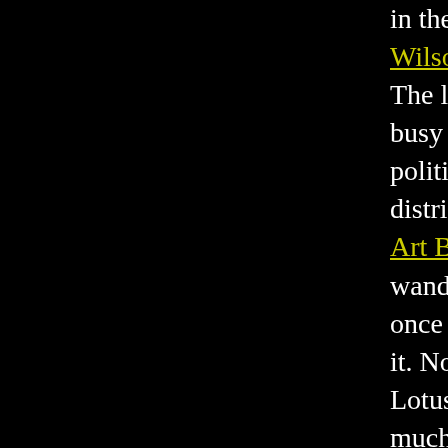in the columns of Earl Wilson or Jack Eigen. The local reporters are busy covering the political beat, not the district of tuxedo. Maybe Art Buchwald will wander in to grab a drink once in a while, but that's it. Nobody goes to the Lotus Club expecting much. Not the audience, not the press, not the performers. The comedian definitely doesn't expect his wife to be murdered while he's onstage.

Maybe he should.